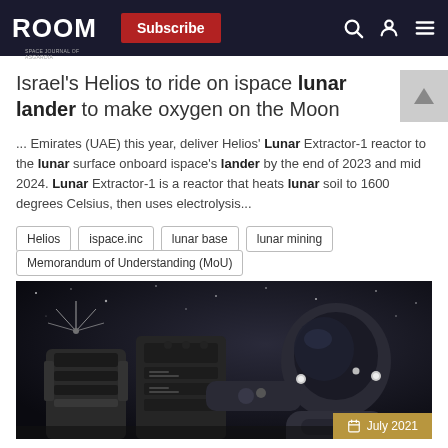ROOM — Subscribe
Israel's Helios to ride on ispace lunar lander to make oxygen on the Moon
... Emirates (UAE) this year, deliver Helios' Lunar Extractor-1 reactor to the lunar surface onboard ispace's lander by the end of 2023 and mid 2024. Lunar Extractor-1 is a reactor that heats lunar soil to 1600 degrees Celsius, then uses electrolysis...
Helios
ispace.inc
lunar base
lunar mining
Memorandum of Understanding (MoU)
[Figure (photo): Dark space scene showing astronaut in spacesuit and lunar/space equipment on the surface, with stars in the background. Date badge shows July 2021.]